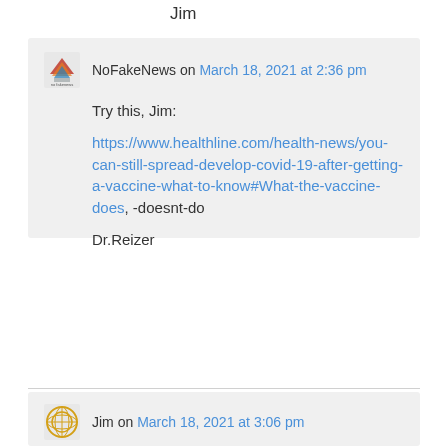Jim
NoFakeNews on March 18, 2021 at 2:36 pm

Try this, Jim:
https://www.healthline.com/health-news/you-can-still-spread-develop-covid-19-after-getting-a-vaccine-what-to-know#What-the-vaccine-does, -doesnt-do

Dr.Reizer
Jim on March 18, 2021 at 3:06 pm

Thanks, Dr. Reizer. This is good!